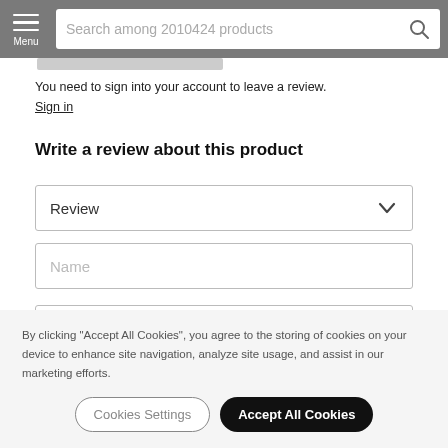Menu | Search among 2010424 products
You need to sign into your account to leave a review.
Sign in
Write a review about this product
Review (dropdown)
Name (input)
By clicking "Accept All Cookies", you agree to the storing of cookies on your device to enhance site navigation, analyze site usage, and assist in our marketing efforts.
Cookies Settings | Accept All Cookies